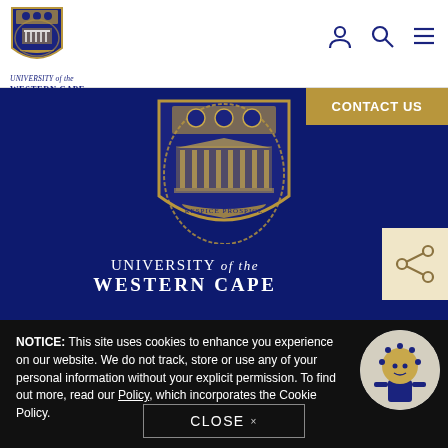[Figure (logo): University of the Western Cape shield logo (small, in navigation bar) with text 'UNIVERSITY of the WESTERN CAPE']
[Figure (logo): Navigation icons: person/account icon, search/magnifier icon, hamburger menu icon]
[Figure (logo): University of the Western Cape full hero section with dark navy background, large shield crest, and 'UNIVERSITY of the WESTERN CAPE' text in white]
CONTACT US
[Figure (other): Share icon button (branching nodes) on gold/cream background]
NOTICE: This site uses cookies to enhance you experience on our website. We do not track, store or use any of your personal information without your explicit permission. To find out more, read our Policy, which incorporates the Cookie Policy.
[Figure (illustration): UWC mascot character - a small blue figure with a large round spiky head, circular portrait on grey/cream background]
CLOSE ×